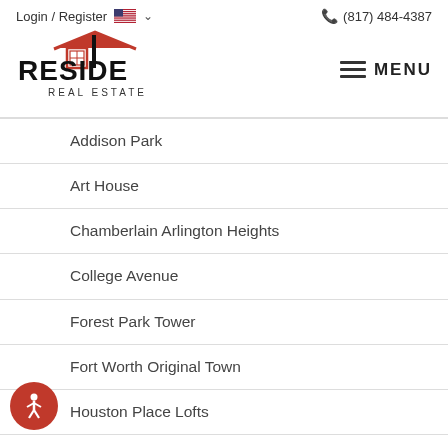Login / Register  (817) 484-4387
[Figure (logo): Reside Real Estate logo with red house roof and black bold text]
Addison Park
Art House
Chamberlain Arlington Heights
College Avenue
Forest Park Tower
Fort Worth Original Town
Houston Place Lofts
Magnolia-May Condos